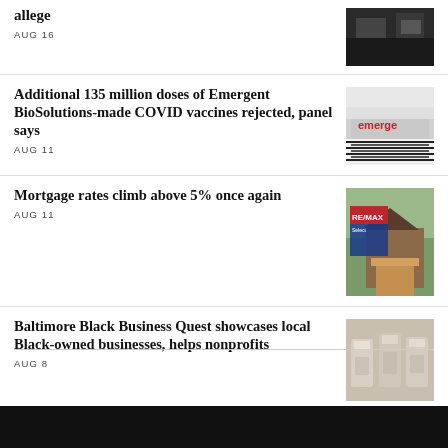allege
AUG 16
Additional 135 million doses of Emergent BioSolutions-made COVID vaccines rejected, panel says
AUG 11
Mortgage rates climb above 5% once again
AUG 11
Baltimore Black Business Quest showcases local Black-owned businesses, helps nonprofits
AUG 8